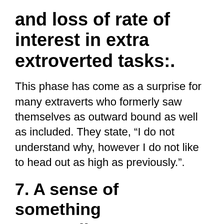and loss of rate of interest in extra extroverted tasks:.
This phase has come as a surprise for many extraverts who formerly saw themselves as outward bound as well as included. They state, “I do not understand why, however I do not like to head out as high as previously.”.
7. A sense of something “Impending”.
There is a sensation that something will happen. This can develop anxiousness.
Suggestions: There is nothing to fret about. Things are absolutely occurring, yet